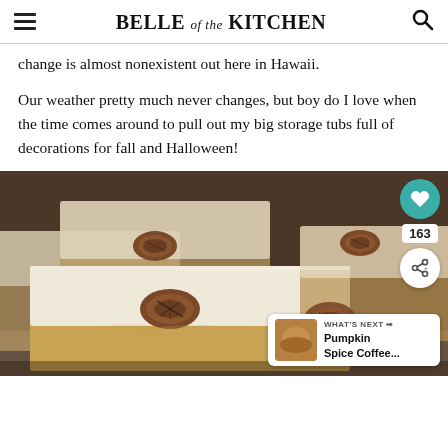BELLE of the KITCHEN
change is almost nonexistent out here in Hawaii.
Our weather pretty much never changes, but boy do I love when the time comes around to pull out my big storage tubs full of decorations for fall and Halloween!
[Figure (photo): Close-up photo of frosted pumpkin bars topped with pecans, with sharing icons (heart, 163 count, share button) and a 'What's Next: Pumpkin Spice Coffee...' overlay in the bottom right corner.]